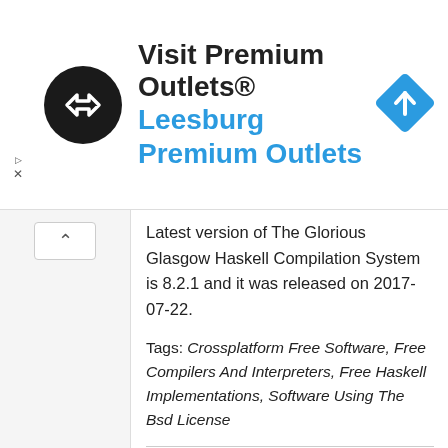[Figure (infographic): Advertisement banner for Visit Premium Outlets® showing a black circular logo with white double arrows, the text 'Visit Premium Outlets®' in black bold, 'Leesburg Premium Outlets' in blue bold, and a blue diamond navigation arrow icon on the right.]
Latest version of The Glorious Glasgow Haskell Compilation System is 8.2.1 and it was released on 2017-07-22.
Tags: Crossplatform Free Software, Free Compilers And Interpreters, Free Haskell Implementations, Software Using The Bsd License
Crosswalk Project
Crosswalk Project is an open-source web app runtime built with the latest releases of Chromium and Blink from Google. These are also used in Google Chrome. The project's focus is to provide the most...
Latest version of Crosswalk Project is 23 and